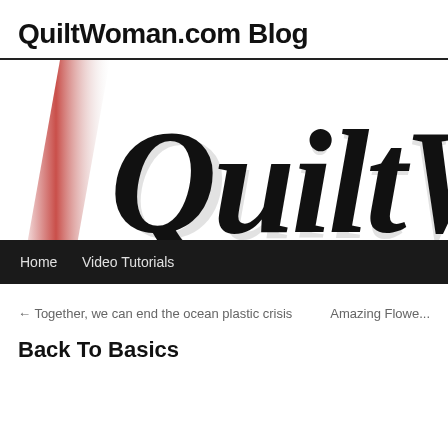QuiltWoman.com Blog
[Figure (logo): QuiltWoman.com logo banner showing large cursive/script text 'QuiltW...' in black with shadow effect, and a red gradient diagonal stripe on the left side]
Home   Video Tutorials
← Together, we can end the ocean plastic crisis
Amazing Flowe...
Back To Basics